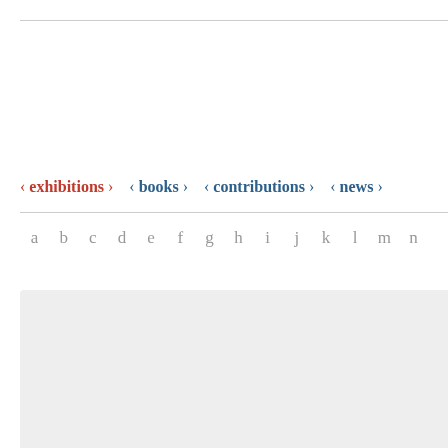‹ exhibitions › ‹ books › ‹ contributions › ‹ news ›
a b c d e f g h i j k l m n
‹ contributions ›
collections   ‹ Essays ›